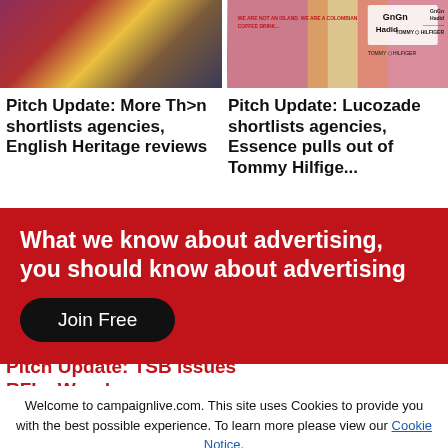[Figure (photo): Two-column image row: left shows a person in red outfit against dark background; right shows a colorful Tommy Hilfiger / Gigi Hadid advertisement]
Pitch Update: More Th>n shortlists agencies, English Heritage reviews...
Pitch Update: Lucozade shortlists agencies, Essence pulls out of Tommy Hilfiger...
What we know about advertising, you should know about advertising
Join Free
Welcome to campaignlive.com. This site uses Cookies to provide you with the best possible experience. To learn more please view our Cookie Notice.
Close
Pitch Update: TSB issues RFIs, Wunderman...